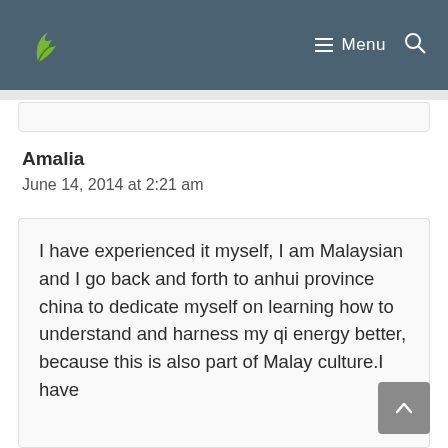Menu
Amalia
June 14, 2014 at 2:21 am
I have experienced it myself, I am Malaysian and I go back and forth to anhui province china to dedicate myself on learning how to understand and harness my qi energy better, because this is also part of Malay culture.I have